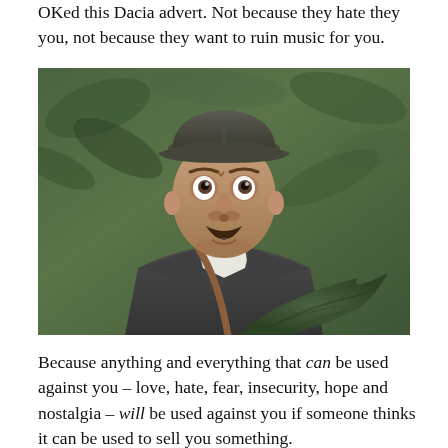OKed this Dacia advert. Not because they hate they you, not because they want to ruin music for you.
[Figure (photo): A man with a mustache wearing a dark cap and jacket standing in front of green foliage, looking upward with a worried or surprised expression. He has a brown strap over his shoulder.]
Because anything and everything that can be used against you – love, hate, fear, insecurity, hope and nostalgia – will be used against you if someone thinks it can be used to sell you something.